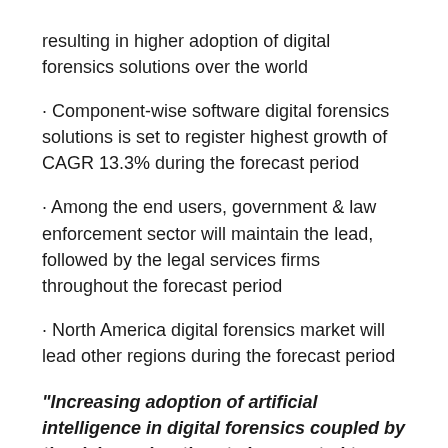resulting in higher adoption of digital forensics solutions over the world
· Component-wise software digital forensics solutions is set to register highest growth of CAGR 13.3% during the forecast period
· Among the end users, government & law enforcement sector will maintain the lead, followed by the legal services firms throughout the forecast period
· North America digital forensics market will lead other regions during the forecast period
"Increasing adoption of artificial intelligence in digital forensics coupled by the rising cyber threats is expected to steer the global digital forensics market growth during the